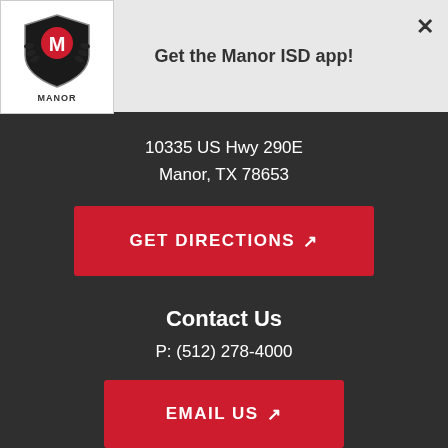[Figure (logo): Manor ISD shield logo with laurel wreath and red M emblem]
Get the Manor ISD app!
×
10335 US Hwy 290E
Manor, TX 78653
GET DIRECTIONS ↗
Contact Us
P: (512) 278-4000
EMAIL US ↗